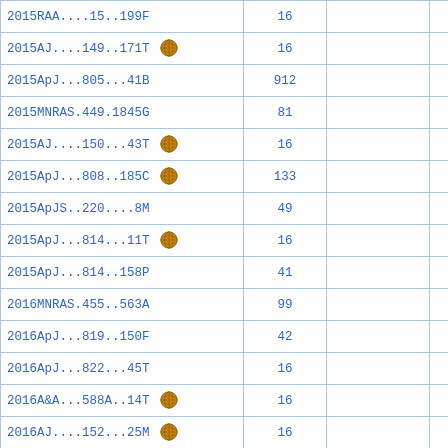| Reference | Count |  | Flag |
| --- | --- | --- | --- |
| 2015RAA....15..199F | 16 |  | D |
| 2015AJ....149..171T [VizieR] | 16 |  | D |
| 2015ApJ...805...41B | 912 |  | D |
| 2015MNRAS.449.1845G | 81 |  |  |
| 2015AJ....150...43T [VizieR] | 16 |  | D |
| 2015ApJ...808..185C [VizieR] | 133 |  |  |
| 2015ApJS..220....8M | 49 |  |  |
| 2015ApJ...814...11T [VizieR] | 16 |  | D |
| 2015ApJ...814..158P | 41 |  |  |
| 2016MNRAS.455..563A | 99 |  | D |
| 2016ApJ...819..150F | 42 |  |  |
| 2016ApJ...822...45T | 16 |  | D |
| 2016A&A...588A..14T [VizieR] | 16 |  | D |
| 2016AJ....152...25M [VizieR] | 16 |  | D |
| 2016MNRAS.458.4297G | 16 |  | D |
| 2016MNRAS.458.4512G [VizieR] | 16 |  | D |
| 2016MNRAS.459L.100L | 41 |  |  |
| 2016ApJ...826L..32G [VizieR] | 140 |  | D |